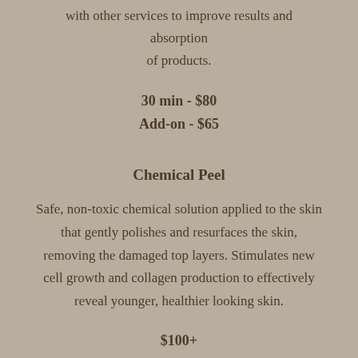with other services to improve results and absorption of products.
30 min - $80
Add-on - $65
Chemical Peel
Safe, non-toxic chemical solution applied to the skin that gently polishes and resurfaces the skin, removing the damaged top layers. Stimulates new cell growth and collagen production to effectively reveal younger, healthier looking skin.
$100+
Anti-Aging Facial
Includes LED light therapy or facial cupping